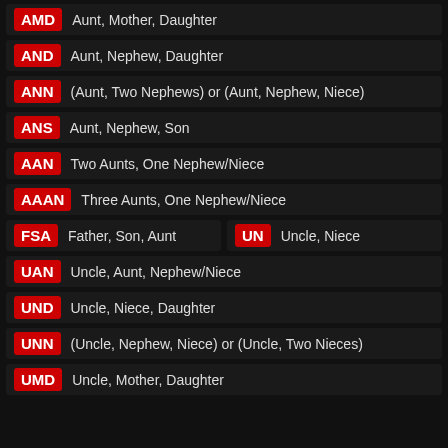AMD — Aunt, Mother, Daughter
AND — Aunt, Nephew, Daughter
ANN — (Aunt, Two Nephews) or (Aunt, Nephew, Niece)
ANS — Aunt, Nephew, Son
AAN — Two Aunts, One Nephew/Niece
AAAN — Three Aunts, One Nephew/Niece
FSA — Father, Son, Aunt
UN — Uncle, Niece
UAN — Uncle, Aunt, Nephew/Niece
UND — Uncle, Niece, Daughter
UNN — (Uncle, Nephew, Niece) or (Uncle, Two Nieces)
UMD — Uncle, Mother, Daughter